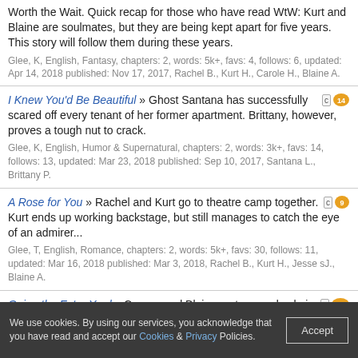Worth the Wait. Quick recap for those who have read WtW: Kurt and Blaine are soulmates, but they are being kept apart for five years. This story will follow them during these years.
Glee, K, English, Fantasy, chapters: 2, words: 5k+, favs: 4, follows: 6, updated: Apr 14, 2018 published: Nov 17, 2017, Rachel B., Kurt H., Carole H., Blaine A.
I Knew You'd Be Beautiful » Ghost Santana has successfully scared off every tenant of her former apartment. Brittany, however, proves a tough nut to crack.
Glee, K, English, Humor & Supernatural, chapters: 2, words: 3k+, favs: 14, follows: 13, updated: Mar 23, 2018 published: Sep 10, 2017, Santana L., Brittany P.
A Rose for You » Rachel and Kurt go to theatre camp together. Kurt ends up working backstage, but still manages to catch the eye of an admirer...
Glee, T, English, Romance, chapters: 2, words: 5k+, favs: 30, follows: 11, updated: Mar 16, 2018 published: Mar 3, 2018, Rachel B., Kurt H., Jesse sJ., Blaine A.
Going the Extra Yard » Cooper and Blaine go to a yard sale in Lima. Blaine notices a boy manning a stand with only plush toys, and sees that everyone passes him by, so he decides to help the boy out and make sure his stuff gets sold. Kiddie Klaine fluff.
Glee, K, English, Friendship, chapters: 2, words: 2k+, favs: 25, follows: 8, updated: Nov 19, 2017 published: Nov 19, 2016
We use cookies. By using our services, you acknowledge that you have read and accept our Cookies & Privacy Policies.